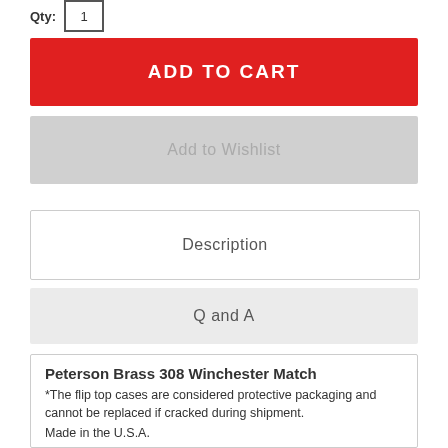Qty: 1
ADD TO CART
Add to Wishlist
Description
Q and A
Peterson Brass 308 Winchester Match
*The flip top cases are considered protective packaging and cannot be replaced if cracked during shipment.
Made in the U.S.A.
50 ct